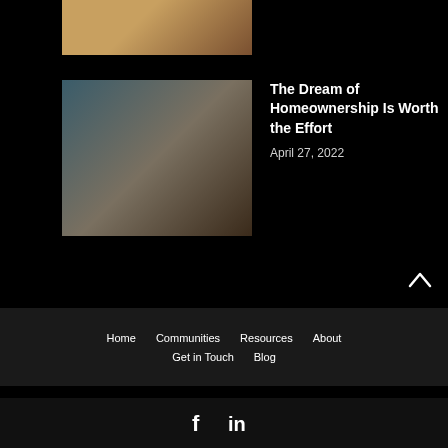[Figure (photo): Partial view of a person in a yellow top holding a phone, cropped at top]
[Figure (photo): A man and a young girl sitting together looking at a tablet, indoor setting with teal door]
The Dream of Homeownership Is Worth the Effort
April 27, 2022
Home  Communities  Resources  About  Get in Touch  Blog
[Figure (logo): Social media icons: Facebook (f) and LinkedIn (in)]